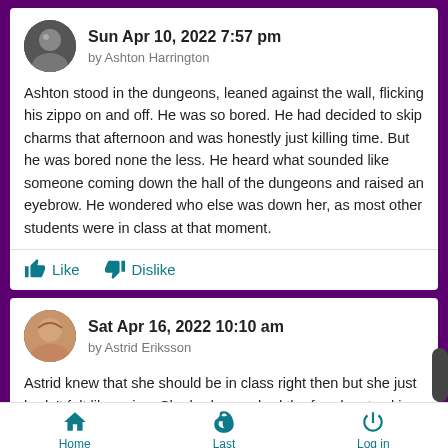Sun Apr 10, 2022 7:57 pm
by Ashton Harrington
Ashton stood in the dungeons, leaned against the wall, flicking his zippo on and off. He was so bored. He had decided to skip charms that afternoon and was honestly just killing time. But he was bored none the less. He heard what sounded like someone coming down the hall of the dungeons and raised an eyebrow. He wondered who else was down her, as most other students were in class at that moment.
Like   Dislike
Sat Apr 16, 2022 10:10 am
by Astrid Eriksson
Astrid knew that she should be in class right then but she just hadn't felt like going. She had never had the freedom to skip
Home   Last   Log in